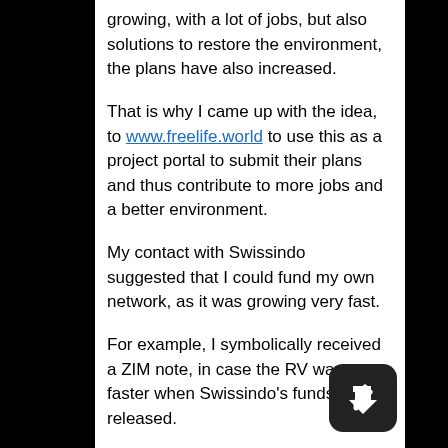growing, with a lot of jobs, but also solutions to restore the environment, the plans have also increased.
That is why I came up with the idea, to www.freelife.world to use this as a project portal to submit their plans and thus contribute to more jobs and a better environment.
My contact with Swissindo suggested that I could fund my own network, as it was growing very fast.
For example, I symbolically received a ZIM note, in case the RV was faster when Swissindo's funds were released.